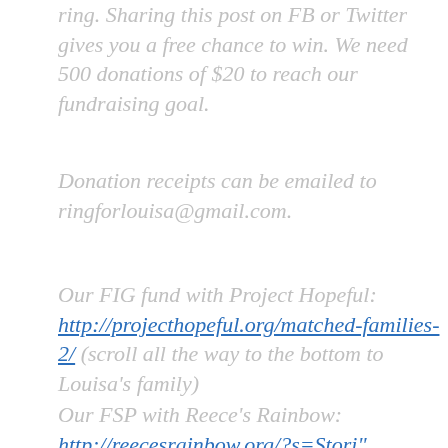ring. Sharing this post on FB or Twitter gives you a free chance to win. We need 500 donations of $20 to reach our fundraising goal.
Donation receipts can be emailed to ringforlouisa@gmail.com.
Our FIG fund with Project Hopeful: http://projecthopeful.org/matched-families-2/ (scroll all the way to the bottom to Louisa's family)
Our FSP with Reece's Rainbow: http://reecesrainbow.org/?s=Stori